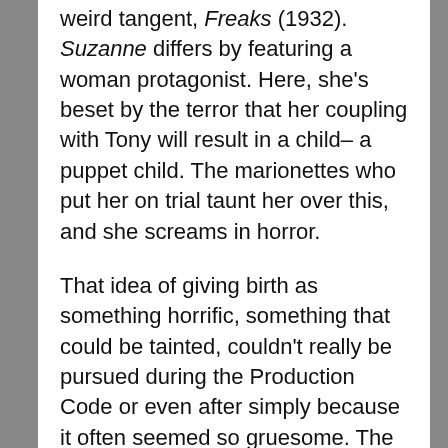weird tangent, Freaks (1932). Suzanne differs by featuring a woman protagonist. Here, she's beset by the terror that her coupling with Tony will result in a child– a puppet child. The marionettes who put her on trial taunt her over this, and she screams in horror.
That idea of giving birth as something horrific, something that could be tainted, couldn't really be pursued during the Production Code or even after simply because it often seemed so gruesome. The genre would eventually find home in science fiction films like Alien and Videodrome, but those are cold, blatant films. Suzanne's most obvious (and least likely successor) would have to be Cronenberg's remake of The Fly (1986), though, again, the fact that it isn't dressed up in a world of playful puppets and silly villains almost makes